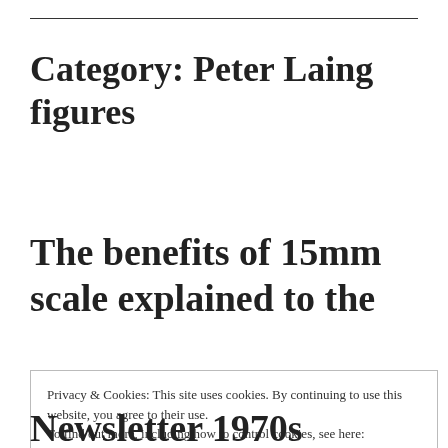Category: Peter Laing figures
The benefits of 15mm scale explained to the
Privacy & Cookies: This site uses cookies. By continuing to use this website, you agree to their use.
To find out more, including how to control cookies, see here: Cookie Policy
Close and accept
Newsletter 1970s